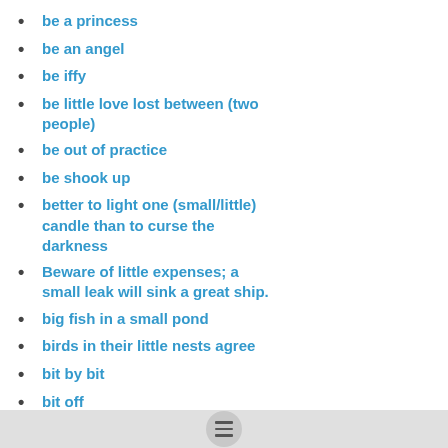be a princess
be an angel
be iffy
be little love lost between (two people)
be out of practice
be shook up
better to light one (small/little) candle than to curse the darkness
Beware of little expenses; a small leak will sink a great ship.
big fish in a small pond
birds in their little nests agree
bit by bit
bit off